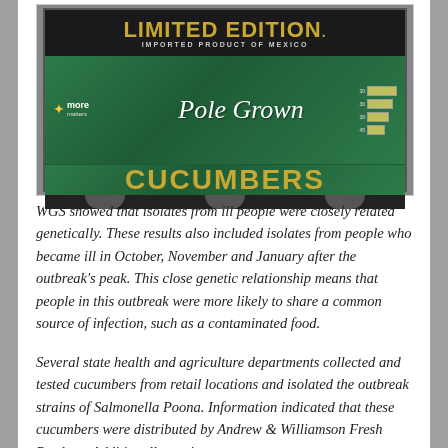[Figure (photo): A cardboard box of 'Limited Edition Imported Product of Mexico Pole Grown Cucumbers' with green, black and gold coloring, showing the More Matters logo. The box has cutout handles at the bottom.]
WGS showed that isolates from ill people were closely related genetically. These results also included isolates from people who became ill in October, November and January after the outbreak's peak. This close genetic relationship means that people in this outbreak were more likely to share a common source of infection, such as a contaminated food.
Several state health and agriculture departments collected and tested cucumbers from retail locations and isolated the outbreak strains of Salmonella Poona. Information indicated that these cucumbers were distributed by Andrew & Williamson Fresh Produce. Additionally, testing